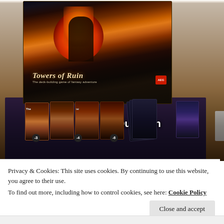[Figure (photo): Photo of the Towers of Ruin board game box (AEG deck-building fantasy card game) standing upright on a table, with game cards laid out in front showing various fantasy artwork characters and dungeon cards. The word 'Dungeon' is visible on the game mat. A cookie consent banner overlays the bottom portion of the image.]
Privacy & Cookies: This site uses cookies. By continuing to use this website, you agree to their use.
To find out more, including how to control cookies, see here: Cookie Policy